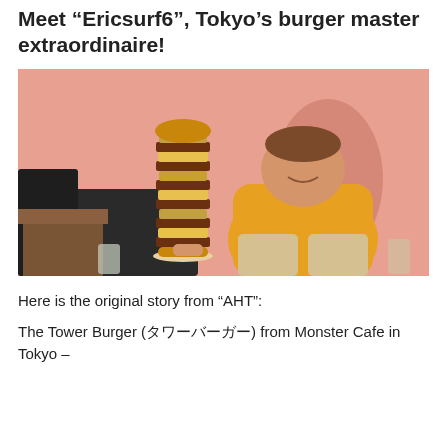Meet “Ericsurf6”, Tokyo’s burger master extraordinaire!
[Figure (photo): A man in a yellow t-shirt sitting on a black couch in a pink-walled room, smiling next to a tall tower of stacked burgers on his lap.]
Here is the original story from “AHT”:
The Tower Burger (トワーバーガー) from Monster Cafe in Tokyo –